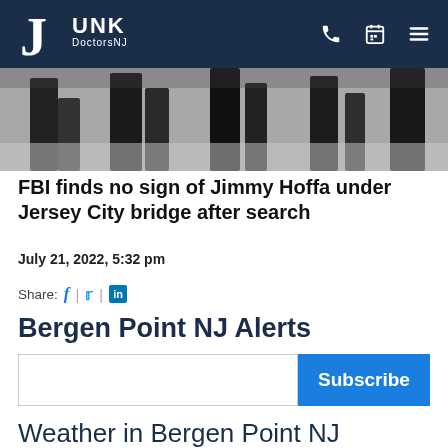Junk DoctorsNJ
[Figure (photo): Black and white photo showing legs/feet of people walking, partial view.]
FBI finds no sign of Jimmy Hoffa under Jersey City bridge after search
July 21, 2022, 5:32 pm
Share: f | t | in
Bergen Point NJ Alerts
Subscribe
Weather in Bergen Point NJ